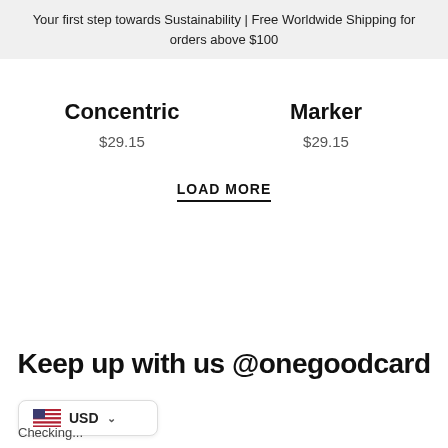Your first step towards Sustainability | Free Worldwide Shipping for orders above $100
Concentric
$29.15
Marker
$29.15
LOAD MORE
Keep up with us @onegoodcard
USD
Checking...